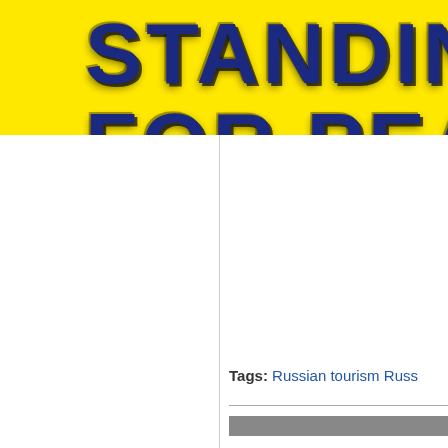[Figure (illustration): Yellow banner with bold dark blue cracked/lightning text reading 'STANDING FOR PEA' (partially cropped). Text has a distressed/cracked texture effect with yellow lightning-like cracks through dark navy letters.]
Tags: Russian tourism Russ...